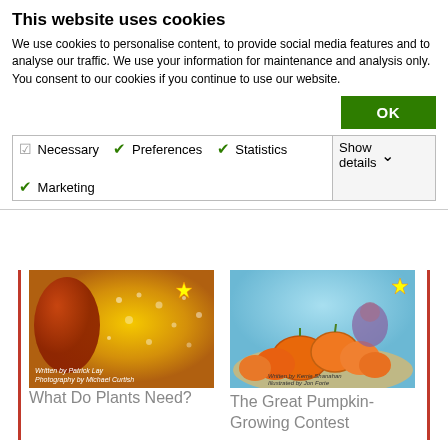This website uses cookies
We use cookies to personalise content, to provide social media features and to analyse our traffic. We use your information for maintenance and analysis only. You consent to our cookies if you continue to use our website.
OK
| Necessary | Preferences | Statistics | Show details |
| Marketing |  |  |  |
[Figure (photo): Book cover for 'What Do Plants Need?' showing close-up of yellow-orange plant with water droplets. Written by Patrick Lay, Photography by Michael Curtish.]
What Do Plants Need?
[Figure (photo): Book cover for 'The Great Pumpkin-Growing Contest' showing illustrated pumpkins. Written by Kerrie Shanahan, Illustrated by Jon Forte.]
The Great Pumpkin-Growing Contest
Lesson Plans